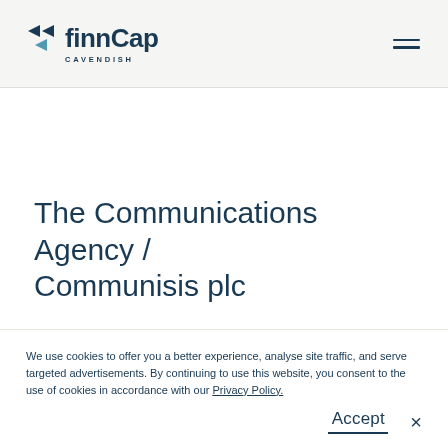[Figure (logo): finnCap Cavendish logo with double arrow icon and text]
The Communications Agency / Communisis plc
We use cookies to offer you a better experience, analyse site traffic, and serve targeted advertisements. By continuing to use this website, you consent to the use of cookies in accordance with our Privacy Policy.
Accept